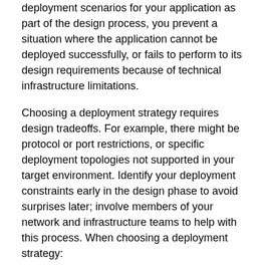deployment scenarios for your application as part of the design process, you prevent a situation where the application cannot be deployed successfully, or fails to perform to its design requirements because of technical infrastructure limitations.
Choosing a deployment strategy requires design tradeoffs. For example, there might be protocol or port restrictions, or specific deployment topologies not supported in your target environment. Identify your deployment constraints early in the design phase to avoid surprises later; involve members of your network and infrastructure teams to help with this process. When choosing a deployment strategy:
Understand the target physical environment for deployment.
Understand the architectural and design constraints based on the deployment environment.
Understand the security and performance impacts of